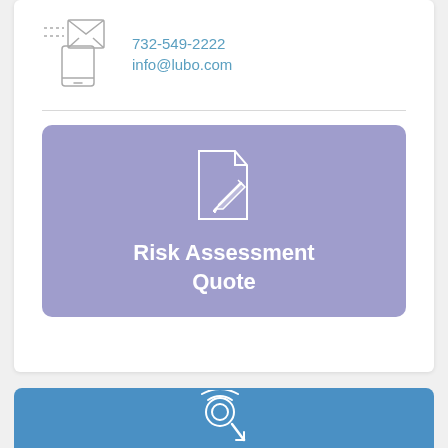[Figure (illustration): Mail/envelope icon with phone and device outline, grey line art]
732-549-2222
info@lubo.com
[Figure (illustration): Document with pen/pencil icon in white on purple background card labeled Risk Assessment Quote]
Risk Assessment Quote
[Figure (illustration): Cursor/click icon in white on blue background at bottom of page]